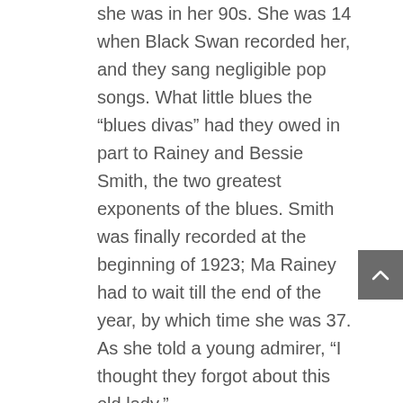she was in her 90s. She was 14 when Black Swan recorded her, and they sang negligible pop songs. What little blues the “blues divas” had they owed in part to Rainey and Bessie Smith, the two greatest exponents of the blues. Smith was finally recorded at the beginning of 1923; Ma Rainey had to wait till the end of the year, by which time she was 37. As she told a young admirer, “I thought they forgot about this old lady.”
Rainey was in her heyday primarily an itinerant performer in black vaudeville, working the “chitlin’ circuit” through much of the south and Midwest up to Chicago. Some sources claim she only visited New York once, but she actually appeared there repeatedly, generally at the